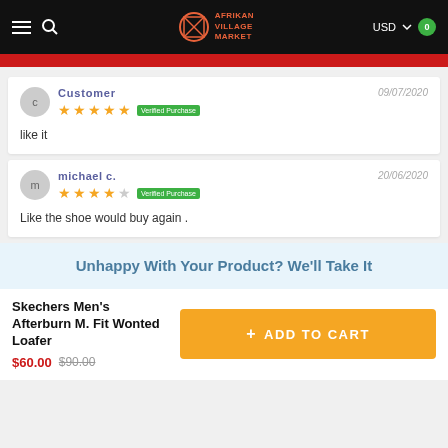[Figure (screenshot): Afrikan Village Market website header with hamburger menu, search icon, logo, USD currency selector, and cart badge showing 0]
Customer 09/07/2020 ★★★★★ Verified Purchase
like it
michael c. 20/06/2020 ★★★★☆ Verified Purchase
Like the shoe would buy again .
Unhappy With Your Product? We'll Take It
Skechers Men's Afterburn M. Fit Wonted Loafer
$60.00 $90.00
+ ADD TO CART